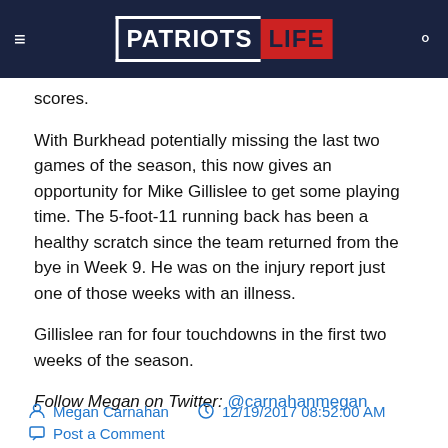Patriots Life
scores.
With Burkhead potentially missing the last two games of the season, this now gives an opportunity for Mike Gillislee to get some playing time. The 5-foot-11 running back has been a healthy scratch since the team returned from the bye in Week 9. He was on the injury report just one of those weeks with an illness.
Gillislee ran for four touchdowns in the first two weeks of the season.
Follow Megan on Twitter: @carnahanmegan
Megan Carnahan   12/19/2017 08:52:00 AM
Post a Comment